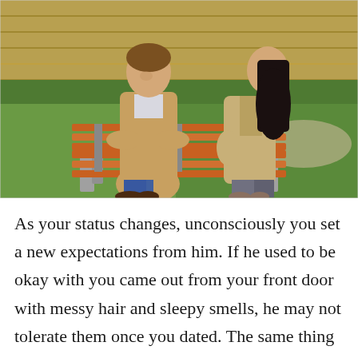[Figure (photo): A man and a woman sitting on a park bench facing away from each other, both with arms crossed, appearing to be in an argument or disagreement. The man is on the left wearing a tan jacket and jeans, the woman is on the right wearing a beige coat. Background shows green grass and what appears to be a field.]
As your status changes, unconsciously you set a new expectations from him. If he used to be okay with you came out from your front door with messy hair and sleepy smells, he may not tolerate them once you dated. The same thing